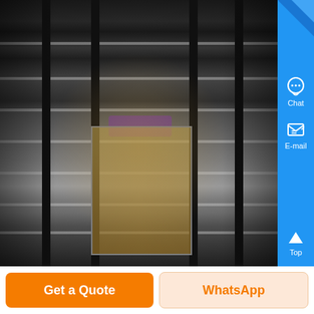[Figure (photo): Interior of a large industrial warehouse with tall metal shelving racks, steel columns, overhead structural beams, and a central lift/crane mechanism with a purple accent. Black and white tones with some warm center lighting.]
Chat
E-mail
Top
×
Get a Quote
WhatsApp